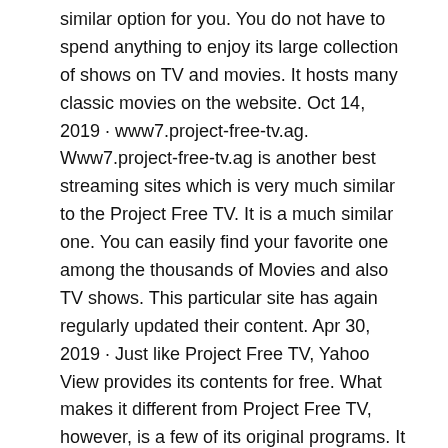similar option for you. You do not have to spend anything to enjoy its large collection of shows on TV and movies. It hosts many classic movies on the website. Oct 14, 2019 · www7.project-free-tv.ag. Www7.project-free-tv.ag is another best streaming sites which is very much similar to the Project Free TV. It is a much similar one. You can easily find your favorite one among the thousands of Movies and also TV shows. This particular site has again regularly updated their content. Apr 30, 2019 · Just like Project Free TV, Yahoo View provides its contents for free. What makes it different from Project Free TV, however, is a few of its original programs. It is widely known that Yahoo View picked up the continuation of series Community after the series' cancellation by NBC.
iphone static ip
steganos online shield 365 review
torguard review youtube